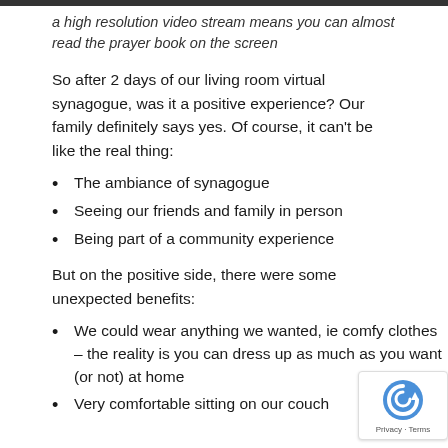a high resolution video stream means you can almost read the prayer book on the screen
So after 2 days of our living room virtual synagogue, was it a positive experience? Our family definitely says yes. Of course, it can't be like the real thing:
The ambiance of synagogue
Seeing our friends and family in person
Being part of a community experience
But on the positive side, there were some unexpected benefits:
We could wear anything we wanted, ie comfy clothes – the reality is you can dress up as much as you want (or not) at home
Very comfortable sitting on our couch